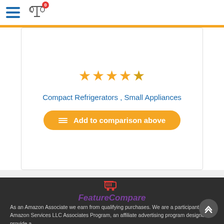Navigation header with hamburger menu and compare scale icon with badge 0
Compact Refrigerators , Small Appliances
Add to comparison above
[Figure (logo): FeatureCompare logo with red shopping cart icon and purple italic text]
As an Amazon Associate we earn from qualifying purchases. We are a participant in the Amazon Services LLC Associates Program, an affiliate advertising program designed to provide a